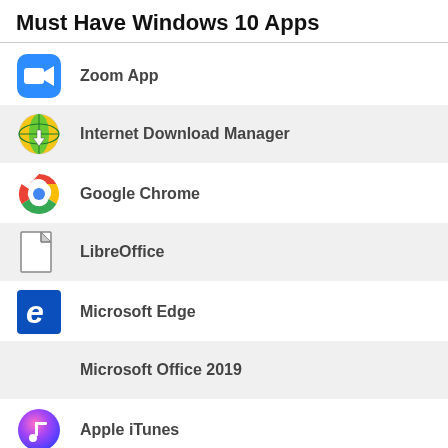Must Have Windows 10 Apps
Zoom App
Internet Download Manager
Google Chrome
LibreOffice
Microsoft Edge
Microsoft Office 2019
Apple iTunes
Speccy